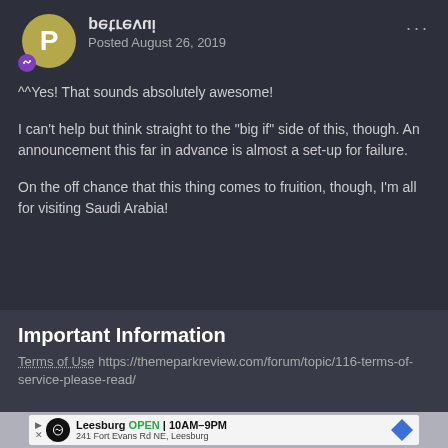inverted — Posted August 26, 2019
^^Yes! That sounds absolutely awesome!
I can't help but think straight to the "big if" side of this, though. An announcement this far in advance is almost a set-up for failure.
On the off chance that this thing comes to fruition, though, I'm all for visiting Saudi Arabia!
Important Information
Terms of Use https://themeparkreview.com/forum/topic/116-terms-of-service-please-read/
[Figure (other): Advertisement banner: Leesburg OPEN 10AM-9PM, 241 Fort Evans Rd NE, Leesburg]